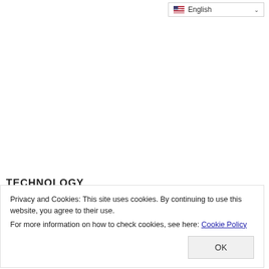English
TECHNOLOGY
Privacy and Cookies: This site uses cookies. By continuing to use this website, you agree to their use.
For more information on how to check cookies, see here: Cookie Policy
OK
The World of Digital Content Meets with